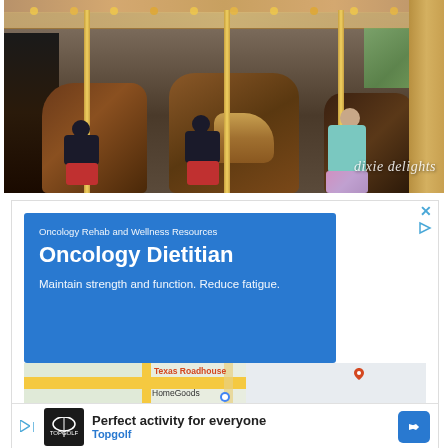[Figure (photo): Children and a woman riding carousel horses inside a carousel pavilion. The image has a watermark reading 'dixie delights' in cursive script at the bottom right.]
[Figure (screenshot): Advertisement for Oncology Rehab and Wellness Resources featuring 'Oncology Dietitian' with text 'Maintain strength and function. Reduce fatigue.' on a blue background, overlaid on a Google Maps strip. Below is a second ad for Topgolf reading 'Perfect activity for everyone'.]